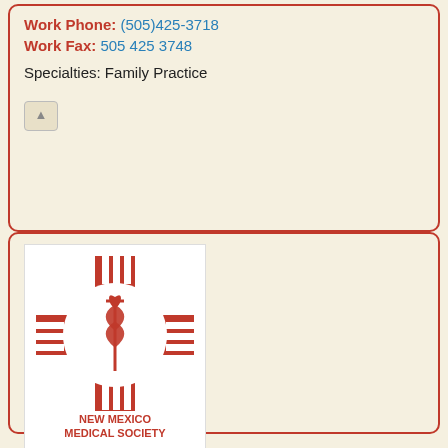Work Phone: (505)425-3718
Work Fax: 505 425 3748
Specialties: Family Practice
[Figure (logo): New Mexico Medical Society logo — red Zia sun symbol with caduceus in center circle, text 'NEW MEXICO MEDICAL SOCIETY' below]
Juan G Gallegos
MD
Work
5904 Holly Ave NE